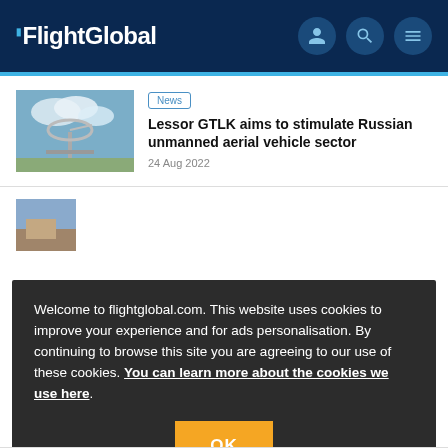FlightGlobal
News
Lessor GTLK aims to stimulate Russian unmanned aerial vehicle sector
24 Aug 2022
Welcome to flightglobal.com. This website uses cookies to improve your experience and for ads personalisation. By continuing to browse this site you are agreeing to our use of these cookies. You can learn more about the cookies we use here.
OK